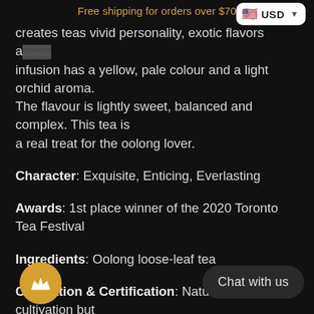Free shipping for orders over $70
creates teas vivid personality, exotic flavors a... infusion has a yellow, pale colour and a light orchid aroma. The flavour is lightly sweet, balanced and complex. This tea is a real treat for the oolong lover.
Character: Exquisite, Enticing, Everlasting
Awards: 1st place winner of the 2020 Toronto Tea Festival
Ingredients: Oolong loose-leaf tea
Cultivation & Certification: Natural (Organic cultivation but no certification)
Brewing instructions: Measure 6 gram per cup, brew at 90-95... 204°F for 1 minute. Good fo... infusions. Add steeping time with each br... ...arm tea pot/cups before brewing.